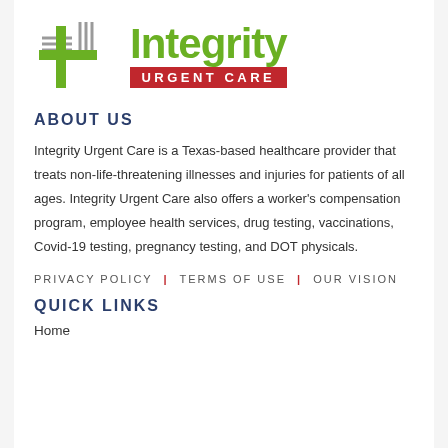[Figure (logo): Integrity Urgent Care logo — green cross/plus icon with gray parallel lines on left, green 'Integrity' text, red banner reading 'URGENT CARE']
ABOUT US
Integrity Urgent Care is a Texas-based healthcare provider that treats non-life-threatening illnesses and injuries for patients of all ages. Integrity Urgent Care also offers a worker's compensation program, employee health services, drug testing, vaccinations, Covid-19 testing, pregnancy testing, and DOT physicals.
PRIVACY POLICY | TERMS OF USE | OUR VISION
QUICK LINKS
Home